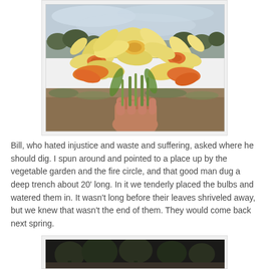[Figure (photo): A hand holding a large bouquet of yellow and orange daffodil/narcissus flowers against an overcast sky and grassy field background.]
Bill, who hated injustice and waste and suffering, asked where he should dig. I spun around and pointed to a place up by the vegetable garden and the fire circle, and that good man dug a deep trench about 20' long. In it we tenderly placed the bulbs and watered them in. It wasn't long before their leaves shriveled away, but we knew that wasn't the end of them. They would come back next spring.
[Figure (photo): A partial black and white or muted outdoor scene, appears to show trees or a garden landscape.]